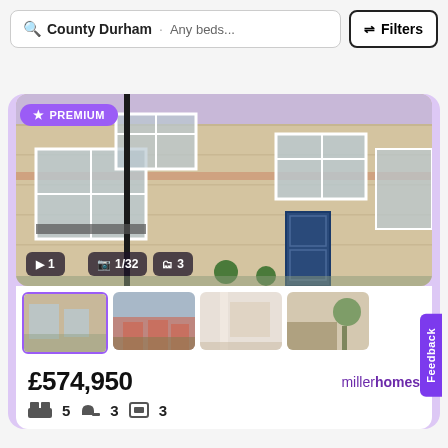County Durham · Any beds...   Filters
[Figure (screenshot): Property listing screenshot showing a terraced brick house with bay windows and a blue front door, with thumbnail images of the property below. Shows PREMIUM badge, video/photo count overlays (1, 1/32, 3), price £574,950, miller homes logo, and property specs (5 beds, 3 baths, 3 reception).]
£574,950
miller homes
5   3   3